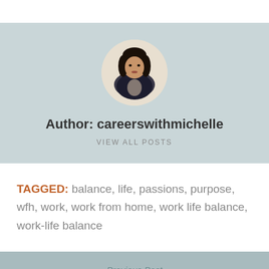[Figure (photo): Circular profile photo of a woman in a black blazer against a light background]
Author: careerswithmichelle
VIEW ALL POSTS
TAGGED: balance, life, passions, purpose, wfh, work, work from home, work life balance, work-life balance
Previous Post
How The COVID-19 Pandemic Will Affect Millennial and Generation Z Job Seekers And What